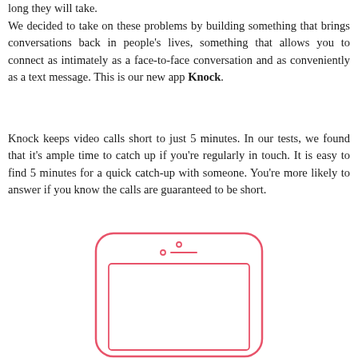long they will take.
We decided to take on these problems by building something that brings conversations back in people's lives, something that allows you to connect as intimately as a face-to-face conversation and as conveniently as a text message. This is our new app Knock.
Knock keeps video calls short to just 5 minutes. In our tests, we found that it's ample time to catch up if you're regularly in touch. It is easy to find 5 minutes for a quick catch-up with someone. You're more likely to answer if you know the calls are guaranteed to be short.
[Figure (illustration): Line drawing of a smartphone (iPhone-style) in pink/red outline, showing front face with camera, speaker, and screen area.]